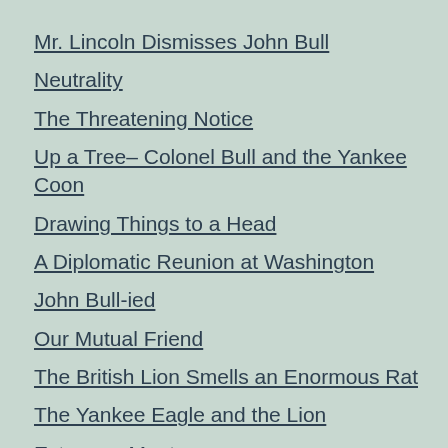Mr. Lincoln Dismisses John Bull
Neutrality
The Threatening Notice
Up a Tree– Colonel Bull and the Yankee Coon
Drawing Things to a Head
A Diplomatic Reunion at Washington
John Bull-ied
Our Mutual Friend
The British Lion Smells an Enormous Rat
The Yankee Eagle and the Lion
Extremes Meet
The Sowers
The Tallest Ruler on the Globe